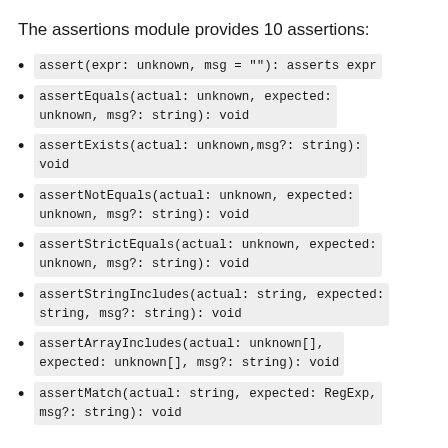The assertions module provides 10 assertions:
assert(expr: unknown, msg = ""): asserts expr
assertEquals(actual: unknown, expected: unknown, msg?: string): void
assertExists(actual: unknown,msg?: string): void
assertNotEquals(actual: unknown, expected: unknown, msg?: string): void
assertStrictEquals(actual: unknown, expected: unknown, msg?: string): void
assertStringIncludes(actual: string, expected: string, msg?: string): void
assertArrayIncludes(actual: unknown[], expected: unknown[], msg?: string): void
assertMatch(actual: string, expected: RegExp, msg?: string): void